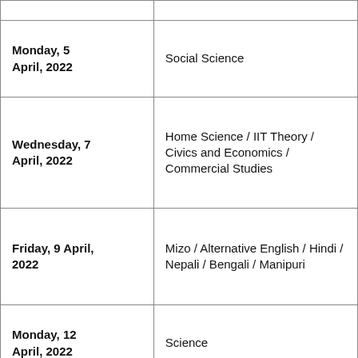| Date | Subject |
| --- | --- |
|  |  |
| Monday, 5 April, 2022 | Social Science |
| Wednesday, 7 April, 2022 | Home Science / IIT Theory / Civics and Economics / Commercial Studies |
| Friday, 9 April, 2022 | Mizo / Alternative English / Hindi / Nepali / Bengali / Manipuri |
| Monday, 12 April, 2022 | Science |
| Thursday, 15 April, 2022 | Mathematics |